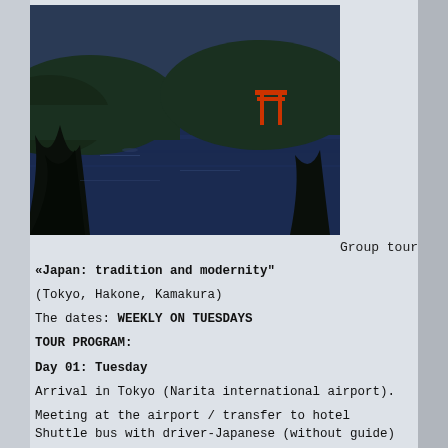[Figure (photo): Scenic photo of a lake with red torii gate and forested hills in the background, classic Japanese landscape view]
Group tour
«Japan: tradition and modernity"
(Tokyo, Hakone, Kamakura)
The dates: WEEKLY ON TUESDAYS
TOUR PROGRAM:
Day 01: Tuesday
Arrival in Tokyo (Narita international airport).
Meeting at the airport / transfer to hotel Shuttle bus with driver-Japanese (without guide)
Moving into the hotel (after 15:00)
18:00 meeting with the guide in the hotel lobby. Transfer with guide by public transport (train-subway) to the station of departure of Sky Bus (Tokyo station).
19:20 – Departure by evening tour of Tokyo on the tour bus with an open roof Sky Hop Bus. You will pass through the sights of Tokyo, will see the most beautiful